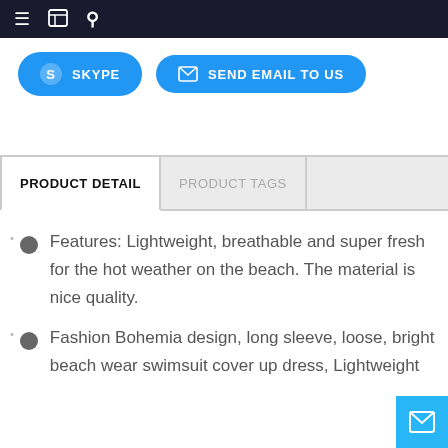Navigation bar with menu, document, and search icons
[Figure (screenshot): Two blue rounded buttons: SKYPE (with S icon) and SEND EMAIL TO US (with envelope icon)]
PRODUCT DETAIL | PRODUCT TAGS
Features: Lightweight, breathable and super fresh for the hot weather on the beach. The material is nice quality.
Fashion Bohemia design, long sleeve, loose, bright beach wear swimsuit cover up dress, Lightweight